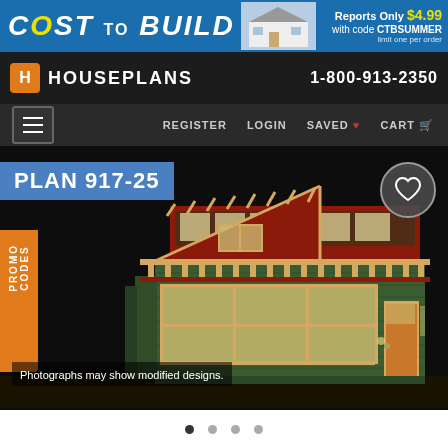[Figure (screenshot): Website banner advertisement for 'Cost to Build' reports. Shows blue background with large white italic text 'COST TO BUILD', small house photo, and promotional text 'Reports Only $4.99 with code CTBSUMMER, limit one per order'.]
HOUSEPLANS  1-800-913-2350
REGISTER  LOGIN  SAVED  CART
PLAN 917-25
[Figure (illustration): 3D rendering of a small craftsman-style tiny house with green shingle siding, red roof, large front windows, wooden door, and exposed rafter tails. Set against a dark background.]
Photographs may show modified designs.